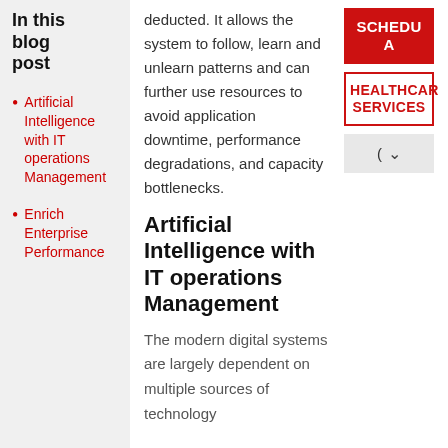In this blog post
Artificial Intelligence with IT operations Management
Enrich Enterprise Performance
deducted. It allows the system to follow, learn and unlearn patterns and can further use resources to avoid application downtime, performance degradations, and capacity bottlenecks.
Artificial Intelligence with IT operations Management
The modern digital systems are largely dependent on multiple sources of technology
[Figure (screenshot): Red button with text SCHEDU A (SCHEDULE A)]
[Figure (screenshot): Outlined red border box with text HEALTHCARE SERVICES]
[Figure (screenshot): Grey dropdown button with parenthesis and chevron]